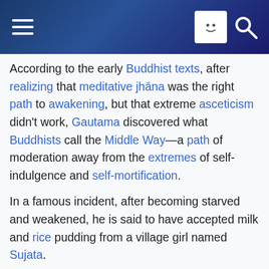Wikipedia mobile header with hamburger menu, user icon, and search icon
According to the early Buddhist texts, after realizing that meditative jhāna was the right path to awakening, but that extreme asceticism didn't work, Gautama discovered what Buddhists call the Middle Way—a path of moderation away from the extremes of self-indulgence and self-mortification.
In a famous incident, after becoming starved and weakened, he is said to have accepted milk and rice pudding from a village girl named Sujata.
Such was his emaciated appearance that she wrongly believed him to be a spirit that had granted her a wish.
Following this incident, Gautama was famously seated under a pipal tree—now known as the Bodhi tree—in Bodh Gaya, India, when he vowed never to arise until he had found the truth.
Kaundinya and four other companions, believing that he had abandoned his search and become undisciplined, left. After a reputed 49 days of meditation, at the age of 35, he is said to have attained Enlightenment.
According to some traditions, this occurred in approximately the